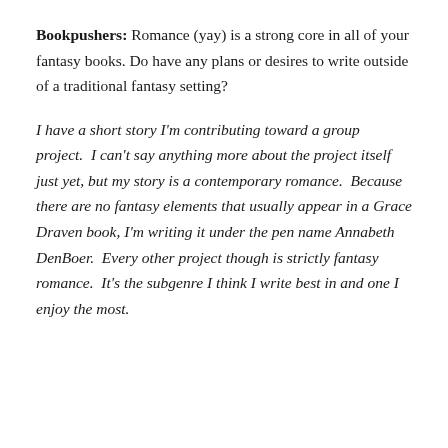Bookpushers: Romance (yay) is a strong core in all of your fantasy books. Do have any plans or desires to write outside of a traditional fantasy setting?
I have a short story I'm contributing toward a group project.  I can't say anything more about the project itself just yet, but my story is a contemporary romance.  Because there are no fantasy elements that usually appear in a Grace Draven book, I'm writing it under the pen name Annabeth DenBoer.  Every other project though is strictly fantasy romance.  It's the subgenre I think I write best in and one I enjoy the most.